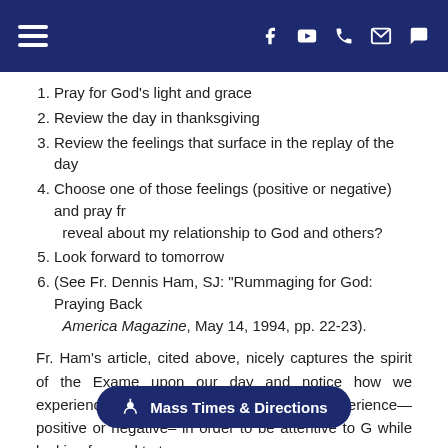Navigation header with hamburger menu and icons: Facebook, YouTube, phone, email, chat
1. Pray for God's light and grace
2. Review the day in thanksgiving
3. Review the feelings that surface in the replay of the day
4. Choose one of those feelings (positive or negative) and pray fr reveal about my relationship to God and others?
5. Look forward to tomorrow
6. (See Fr. Dennis Ham, SJ: "Rummaging for God: Praying Back America Magazine, May 14, 1994, pp. 22-23).
Fr. Ham's article, cited above, nicely captures the spirit of the Exame upon our day and notice how we experienced or perhaps did not ex this experience—positive or negative– in order to be attentive to G while looking forward to tomorrow.
Oftentimes, we act or speak out of a negative spirit in the course of th regularly practiced, helps us to avoid such moments, knowing thei spirit). Contrariwise, building up Mass Times & Directions pr our faith and discipleship of Christ.
[Figure (other): Mass Times & Directions button overlay at bottom center]